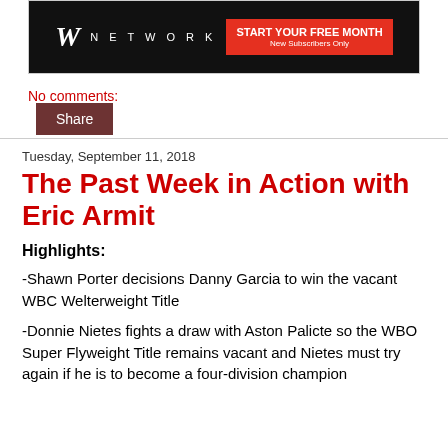[Figure (advertisement): WWE Network advertisement banner with logo and 'Start Your Free Month' button, 'New Subscribers Only' text]
No comments:
Share
Tuesday, September 11, 2018
The Past Week in Action with Eric Armit
Highlights:
-Shawn Porter decisions Danny Garcia to win the vacant WBC Welterweight Title
-Donnie Nietes fights a draw with Aston Palicte so the WBO Super Flyweight Title remains vacant and Nietes must try again if he is to become a four-division champion